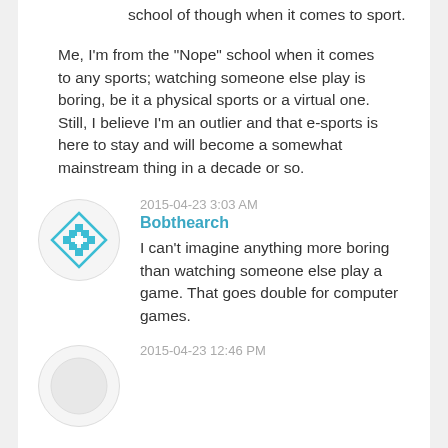school of though when it comes to sport.
Me, I'm from the "Nope" school when it comes to any sports; watching someone else play is boring, be it a physical sports or a virtual one. Still, I believe I'm an outlier and that e-sports is here to stay and will become a somewhat mainstream thing in a decade or so.
2015-04-23 3:03 AM
Bobthearch
I can't imagine anything more boring than watching someone else play a game. That goes double for computer games.
2015-04-23 12:46 PM